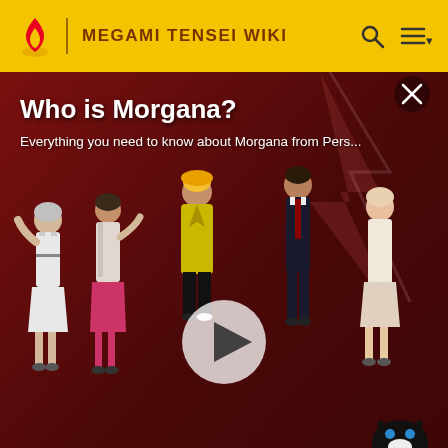MEGAMI TENSEI WIKI
[Figure (screenshot): Video thumbnail showing Persona 5 characters on a dark red background with a play button overlay. Title reads 'Who is Morgana?' and subtitle 'Everything you need to know about Morgana from Pers...' A teal overlay appears at the bottom left with the word MAGICIAN, and partial text 'US THE' at bottom right.]
Who is Morgana?
Everything you need to know about Morgana from Pers...
Who is Morgana?
Promo
Persona 5